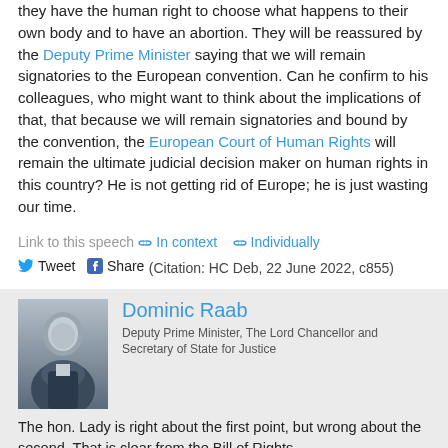they have the human right to choose what happens to their own body and to have an abortion. They will be reassured by the Deputy Prime Minister saying that we will remain signatories to the European convention. Can he confirm to his colleagues, who might want to think about the implications of that, that because we will remain signatories and bound by the convention, the European Court of Human Rights will remain the ultimate judicial decision maker on human rights in this country? He is not getting rid of Europe; he is just wasting our time.
Link to this speech
In context   Individually
Tweet  Share
(Citation: HC Deb, 22 June 2022, c855)
Dominic Raab
Deputy Prime Minister, The Lord Chancellor and Secretary of State for Justice
The hon. Lady is right about the first point, but wrong about the second. That is clear from the Bill of Rights.
Link to this speech